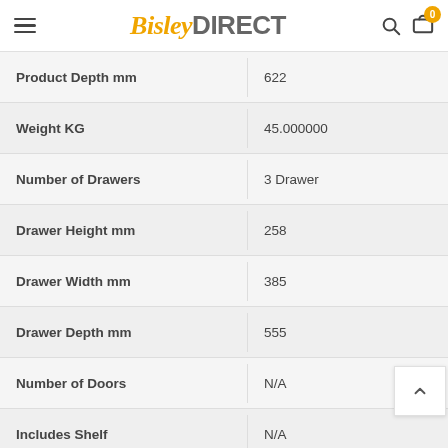BisleyDIRECT
| Attribute | Value |
| --- | --- |
| Product Depth mm | 622 |
| Weight KG | 45.000000 |
| Number of Drawers | 3 Drawer |
| Drawer Height mm | 258 |
| Drawer Width mm | 385 |
| Drawer Depth mm | 555 |
| Number of Doors | N/A |
| Includes Shelf | N/A |